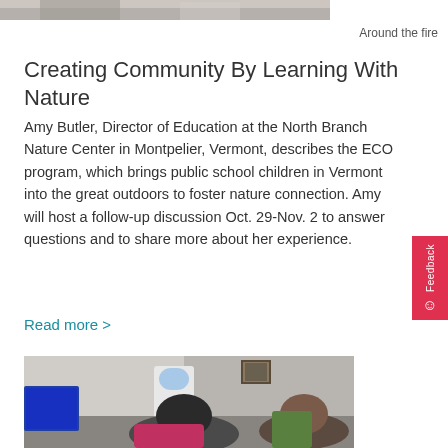[Figure (photo): Top portion of an outdoor winter scene photo, partially cropped]
Around the fire
Creating Community By Learning With Nature
Amy Butler, Director of Education at the North Branch Nature Center in Montpelier, Vermont, describes the ECO program, which brings public school children in Vermont into the great outdoors to foster nature connection. Amy will host a follow-up discussion Oct. 29-Nov. 2 to answer questions and to share more about her experience.
Read more >
[Figure (photo): Two women sitting in an office setting, one leaning forward, the other looking to the side. Office furniture and a water cooler visible in the background.]